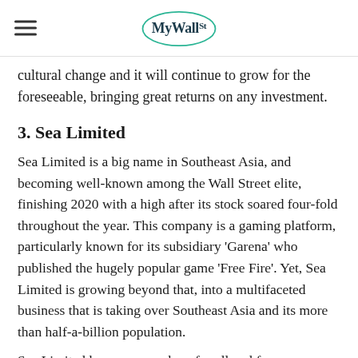MyWallSt
cultural change and it will continue to grow for the foreseeable, bringing great returns on any investment.
3. Sea Limited
Sea Limited is a big name in Southeast Asia, and becoming well-known among the Wall Street elite, finishing 2020 with a high after its stock soared four-fold throughout the year. This company is a gaming platform, particularly known for its subsidiary ‘Garena’ who published the hugely popular game ‘Free Fire’. Yet, Sea Limited is growing beyond that, into a multifaceted business that is taking over Southeast Asia and its more than half-a-billion population.
Sea Limited has more numbers for all and for